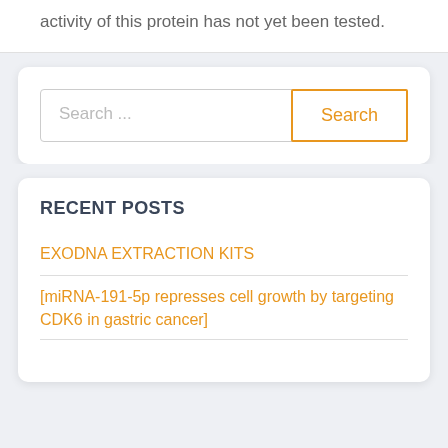activity of this protein has not yet been tested.
[Figure (other): Search bar widget with text input field showing placeholder 'Search ...' and an orange-bordered Search button]
RECENT POSTS
EXODNA EXTRACTION KITS
[miRNA-191-5p represses cell growth by targeting CDK6 in gastric cancer]